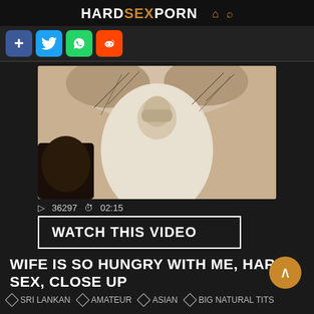HARDSEXPORN
[Figure (screenshot): Screenshot of a porn website header with social media share buttons (plus/add, Twitter, WhatsApp, Reddit)]
[Figure (photo): Close-up explicit sexual content video thumbnail]
▷ 36297  ⏱ 02:15
WATCH THIS VIDEO
WIFE IS SO HUNGRY WITH ME, HARD SEX, CLOSE UP
SRI LANKAN
AMATEUR
ASIAN
BIG NATURAL TITS